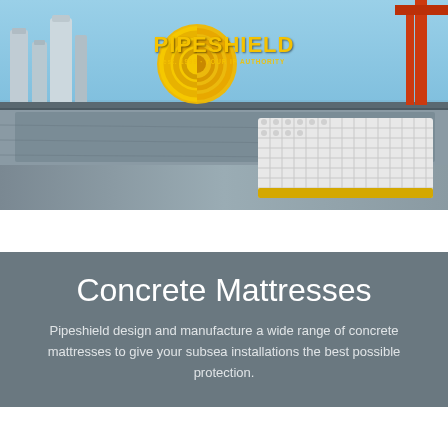[Figure (photo): Industrial barge/vessel on water with large ship hull visible, concrete mattresses on deck, industrial storage tanks and a red crane in the background, overcast sky. Pipeshield logo overlaid in yellow.]
Concrete Mattresses
Pipeshield design and manufacture a wide range of concrete mattresses to give your subsea installations the best possible protection.